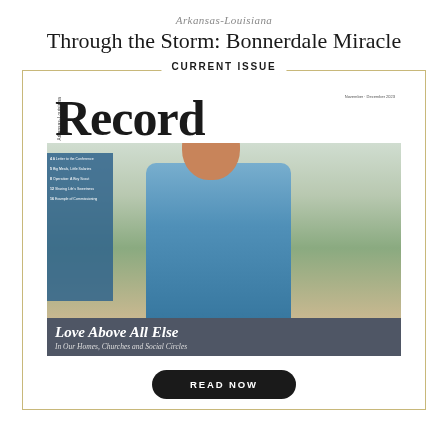Arkansas-Louisiana
Through the Storm: Bonnerdale Miracle
CURRENT ISSUE
[Figure (photo): Cover of the Arkansas-Louisiana Record magazine showing a man in a blue polo shirt leaning on a surveying pole outdoors, with bold 'Record' masthead. Bottom overlay text reads: 'Love Above All Else / In Our Homes, Churches and Social Circles']
READ NOW